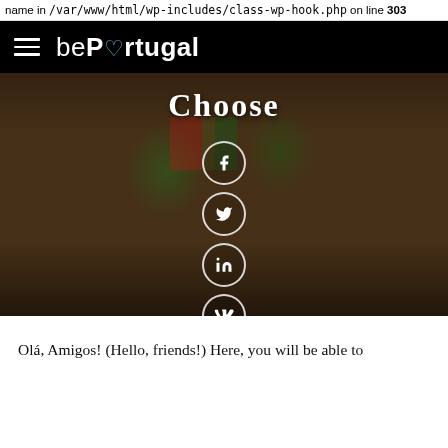name in /var/www/html/wp-includes/class-wp-hook.php on line 303
bePortugal
[Figure (photo): Hero image showing a narrow Portuguese alleyway with colorful plants, flags, and old stone buildings. Social media share icons (Facebook, Twitter, LinkedIn, VK) overlaid in center. Text 'Choose' visible at top.]
Olá, Amigos! (Hello, friends!) Here, you will be able to